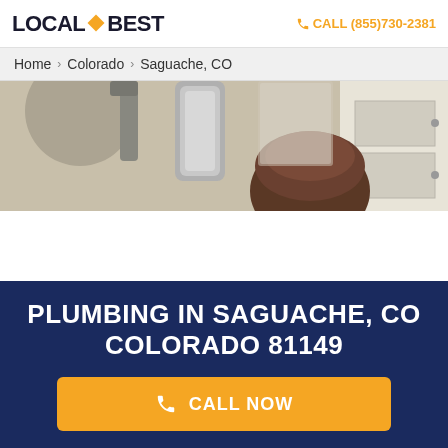LOCAL BEST — CALL (855)730-2381
Home > Colorado > Saguache, CO
[Figure (photo): Photo of a plumber working under a sink in a bathroom]
PLUMBING IN SAGUACHE, CO COLORADO 81149
CALL NOW
CALL NOW (855)730-2381